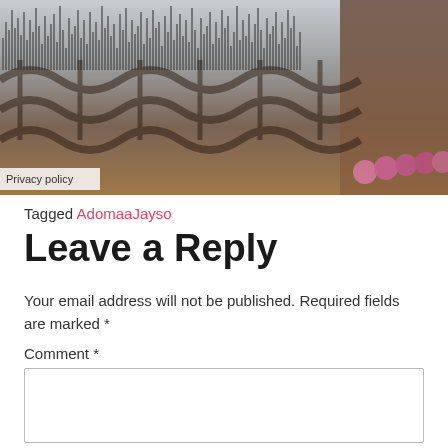[Figure (photo): Background photo showing a chain-link or woven pattern with a histogram-style bar chart overlay, and pink/purple beads visible at the lower right. A 'Privacy policy' label overlays the bottom-left of the image.]
Tagged AdomaaJayso
Leave a Reply
Your email address will not be published. Required fields are marked *
Comment *